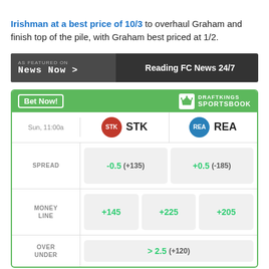Irishman at a best price of 10/3 to overhaul Graham and finish top of the pile, with Graham best priced at 1/2.
[Figure (screenshot): News Now banner featuring 'AS FEATURED ON News Now >' on dark background with 'Reading FC News 24/7' text]
[Figure (screenshot): DraftKings Sportsbook betting widget showing STK vs REA match on Sun 11:00a. Spread: STK -0.5 (+135), REA +0.5 (-185). Money Line: +145, +225, +205. Over/Under: >2.5 (+120).]